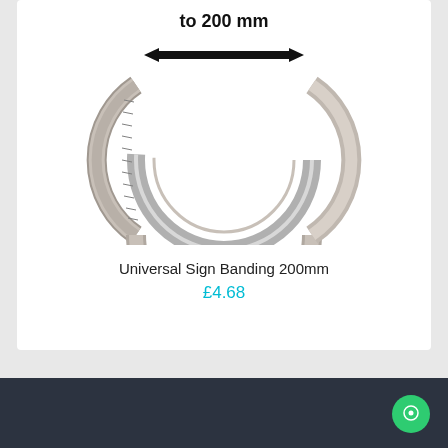[Figure (photo): A circular metallic sign banding ring (stainless steel/chrome finish) shown from above, with a double-headed arrow indicating a diameter measurement of 'to 200 mm' labeled in bold black text above the arrow.]
Universal Sign Banding 200mm
£4.68